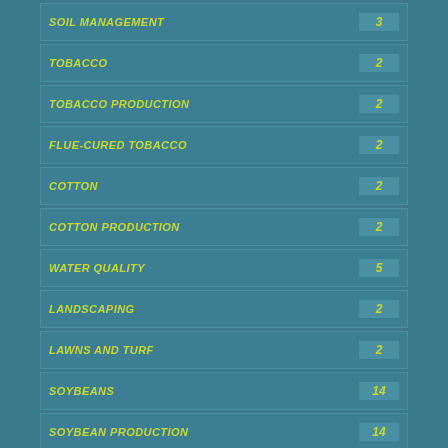SOIL MANAGEMENT  3
TOBACCO  2
TOBACCO PRODUCTION  2
FLUE-CURED TOBACCO  2
COTTON  2
COTTON PRODUCTION  2
WATER QUALITY  5
LANDSCAPING  2
LAWNS AND TURF  2
SOYBEANS  14
SOYBEAN PRODUCTION  14
SOYBEAN RUST  1
FIELD CROPS  15